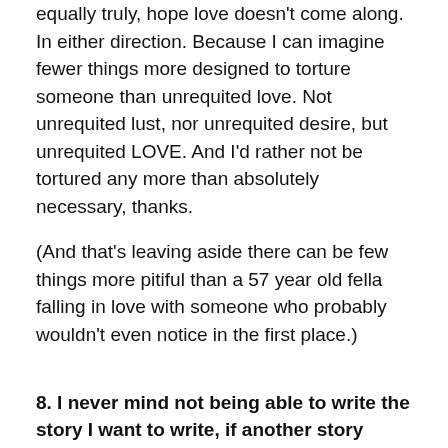equally truly, hope love doesn't come along. In either direction. Because I can imagine fewer things more designed to torture someone than unrequited love. Not unrequited lust, nor unrequited desire, but unrequited LOVE. And I'd rather not be tortured any more than absolutely necessary, thanks.
(And that's leaving aside there can be few things more pitiful than a 57 year old fella falling in love with someone who probably wouldn't even notice in the first place.)
8. I never mind not being able to write the story I want to write, if another story barges its way in.
While I completely agree with those who say, in one way or another, that any fool can start writing a story, but only a writer finishes it…